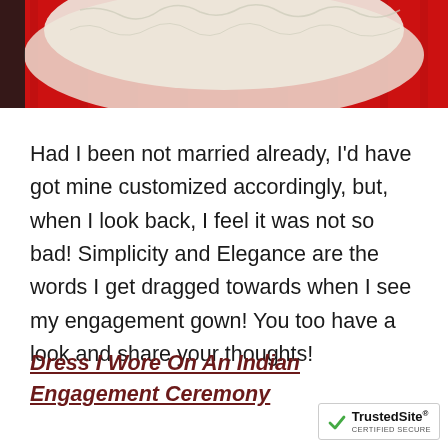[Figure (photo): Top portion of a photo showing a white lacy fabric/gown laid on a red background, partially visible at the top of the page.]
Had I been not married already, I'd have got mine customized accordingly, but, when I look back, I feel it was not so bad! Simplicity and Elegance are the words I get dragged towards when I see my engagement gown! You too have a look and share your thoughts!
Dress I Wore On An Indian Engagement Ceremony
[Figure (logo): TrustedSite CERTIFIED SECURE badge in bottom right corner.]